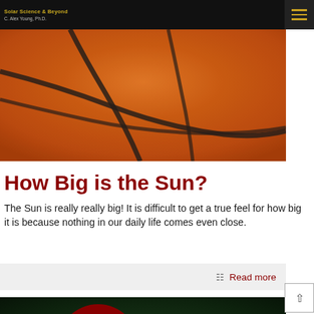Solar Science & Beyond
C. Alex Young, Ph.D.
[Figure (photo): Close-up photograph of a basketball showing the orange surface texture and black seam lines]
How Big is the Sun?
The Sun is really really big! It is difficult to get a true feel for how big it is because nothing in our daily life comes even close.
Read more
[Figure (photo): False-color image of the Sun appearing as a glowing orange sphere against a dark green background, with a bright flare or CME event visible]